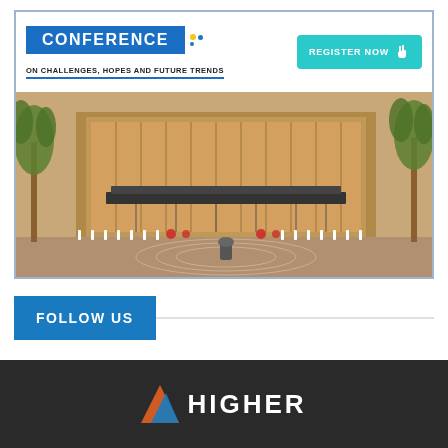[Figure (infographic): Conference banner with title 'CONFERENCE ON CHALLENGES, HOPES AND FUTURE TRENDS' with a teal 'REGISTER NOW' button and a venue/hotel exterior photograph showing a modern building with palm trees and circular driveway.]
FOLLOW US
[Figure (logo): Higher education organization logo — orange and blue triangular icon beside the text 'HIGHER' in white on a dark background.]